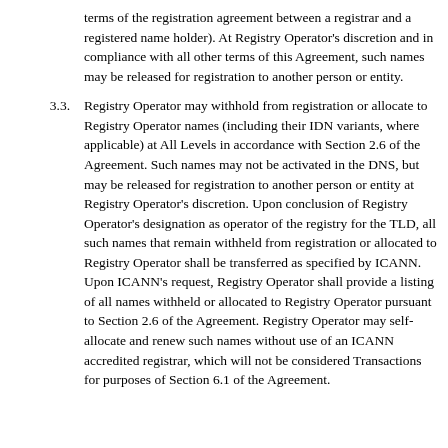terms of the registration agreement between a registrar and a registered name holder).  At Registry Operator's discretion and in compliance with all other terms of this Agreement, such names may be released for registration to another person or entity.
3.3.  Registry Operator may withhold from registration or allocate to Registry Operator names (including their IDN variants, where applicable) at All Levels in accordance with Section 2.6 of the Agreement. Such names may not be activated in the DNS, but may be released for registration to another person or entity at Registry Operator's discretion.  Upon conclusion of Registry Operator's designation as operator of the registry for the TLD, all such names that remain withheld from registration or allocated to Registry Operator shall be transferred as specified by ICANN.  Upon ICANN's request, Registry Operator shall provide a listing of all names withheld or allocated to Registry Operator pursuant to Section 2.6 of the Agreement. Registry Operator may self-allocate and renew such names without use of an ICANN accredited registrar, which will not be considered Transactions for purposes of Section 6.1 of the Agreement.